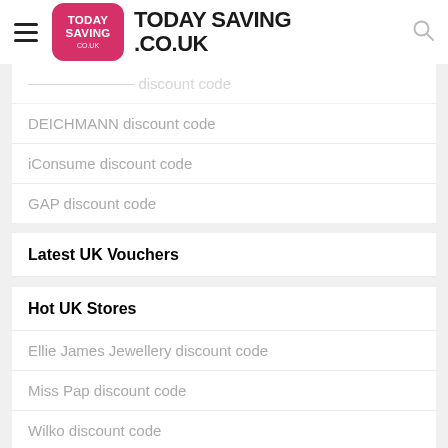TODAY SAVING .CO.UK
DEICHMANN discount code
iConsume discount code
GAP discount code
Latest UK Vouchers
Hot UK Stores
Ellie James Jewellery discount code
Miss Pap discount code
Wilko discount code
BuyMobiles discount code
affordablemobiles discount code